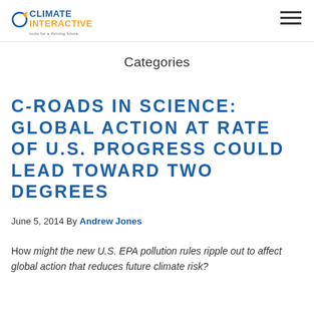Climate Interactive — tools for a thriving future
Categories
C-ROADS IN SCIENCE: GLOBAL ACTION AT RATE OF U.S. PROGRESS COULD LEAD TOWARD TWO DEGREES
June 5, 2014 By Andrew Jones
How might the new U.S. EPA pollution rules ripple out to affect global action that reduces future climate risk?